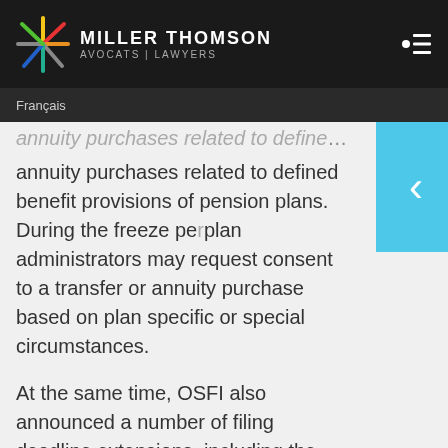MILLER THOMSON — AVOCATS | LAWYERS
Français
annuity purchases related to defined benefit provisions of pension plans. During the freeze pe[riod] plan administrators may request consent to a transfer or annuity purchase based on plan specific or special circumstances.
At the same time, OSFI also announced a number of filing deadline extensions, including the following measures:
Extension of the deadline for filing annual information returns, certified financial